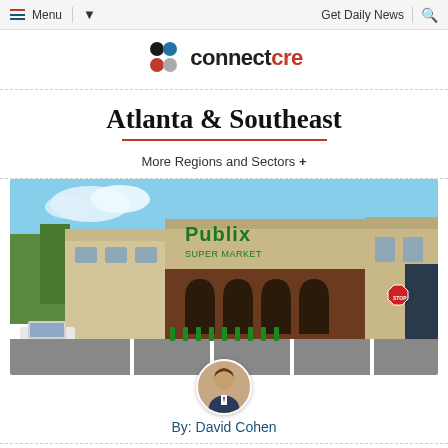Menu  Get Daily News
[Figure (logo): connectcre logo with colored dots]
Atlanta & Southeast
More Regions and Sectors +
[Figure (photo): Exterior photo of a Publix grocery store shopping center with parking lot, green bollards, and a stop sign visible]
By: David Cohen